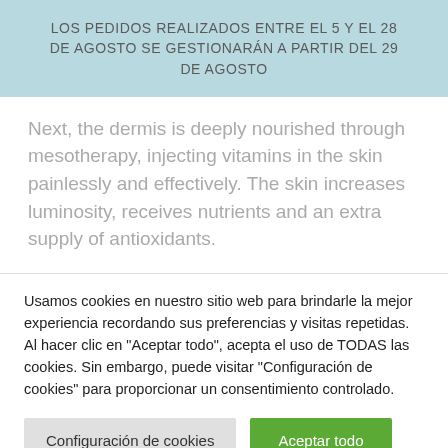LOS PEDIDOS REALIZADOS ENTRE EL 5 Y EL 28 DE AGOSTO SE GESTIONARÁN A PARTIR DEL 29 DE AGOSTO
Next, the dermis is deeply nourished through mesotherapy, injecting vitamins in the skin painlessly and effectively. The skin increases luminosity, receives nutrients and an extra supply of antioxidants.
Usamos cookies en nuestro sitio web para brindarle la mejor experiencia recordando sus preferencias y visitas repetidas. Al hacer clic en "Aceptar todo", acepta el uso de TODAS las cookies. Sin embargo, puede visitar "Configuración de cookies" para proporcionar un consentimiento controlado.
Configuración de cookies
Aceptar todo